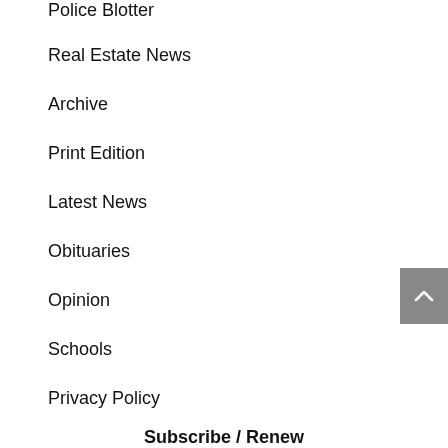Police Blotter
Real Estate News
Archive
Print Edition
Latest News
Obituaries
Opinion
Schools
Privacy Policy
Subscribe / Renew